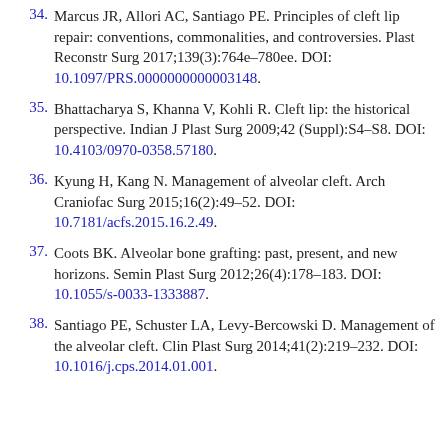34. Marcus JR, Allori AC, Santiago PE. Principles of cleft lip repair: conventions, commonalities, and controversies. Plast Reconstr Surg 2017;139(3):764e–780ee. DOI: 10.1097/PRS.0000000000003148.
35. Bhattacharya S, Khanna V, Kohli R. Cleft lip: the historical perspective. Indian J Plast Surg 2009;42 (Suppl):S4–S8. DOI: 10.4103/0970-0358.57180.
36. Kyung H, Kang N. Management of alveolar cleft. Arch Craniofac Surg 2015;16(2):49–52. DOI: 10.7181/acfs.2015.16.2.49.
37. Coots BK. Alveolar bone grafting: past, present, and new horizons. Semin Plast Surg 2012;26(4):178–183. DOI: 10.1055/s-0033-1333887.
38. Santiago PE, Schuster LA, Levy-Bercowski D. Management of the alveolar cleft. Clin Plast Surg 2014;41(2):219–232. DOI: 10.1016/j.cps.2014.01.001.